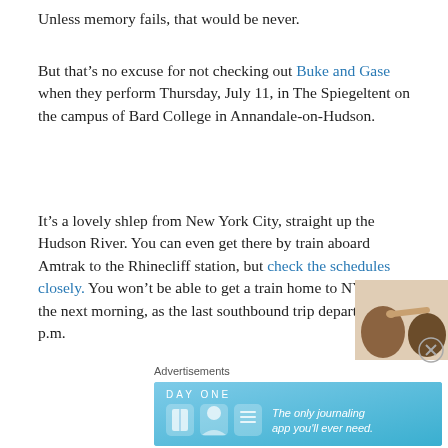Unless memory fails, that would be never.
But that’s no excuse for not checking out Buke and Gase when they perform Thursday, July 11, in The Spiegeltent on the campus of Bard College in Annandale-on-Hudson.
It’s a lovely shlep from New York City, straight up the Hudson River. You can even get there by train aboard Amtrak to the Rhinecliff station, but check the schedules closely. You won’t be able to get a train home to NYC until the next morning, as the last southbound trip departs at 5:06 p.m.
[Figure (photo): Partial photo of two people, one pointing a finger toward the other's head, visible at bottom right of page]
Advertisements
[Figure (infographic): DayOne journaling app advertisement banner with light blue background, logo, icons, and tagline 'The only journaling app you'll ever need.']